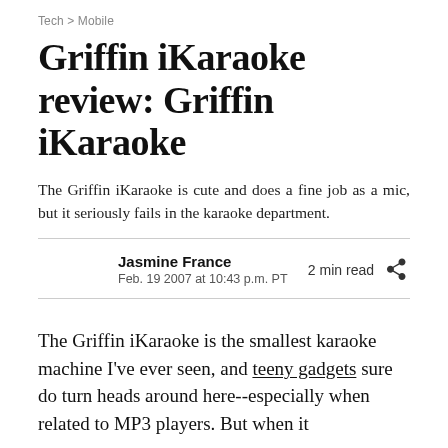Tech > Mobile
Griffin iKaraoke review: Griffin iKaraoke
The Griffin iKaraoke is cute and does a fine job as a mic, but it seriously fails in the karaoke department.
Jasmine France
Feb. 19 2007 at 10:43 p.m. PT
2 min read
The Griffin iKaraoke is the smallest karaoke machine I've ever seen, and teeny gadgets sure do turn heads around here--especially when related to MP3 players. But when it